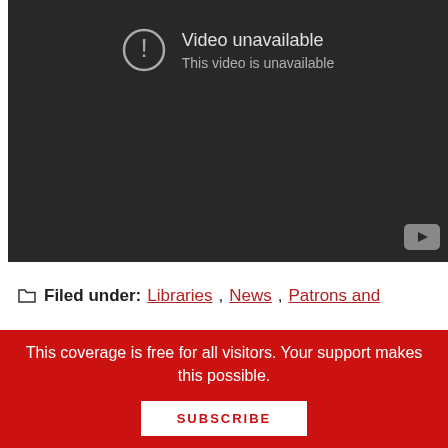[Figure (screenshot): YouTube video player showing 'Video unavailable / This video is unavailable' error message on dark background with YouTube logo in bottom-right corner.]
Filed under: Libraries, News, Patrons and
This coverage is free for all visitors. Your support makes this possible.
SUBSCRIBE